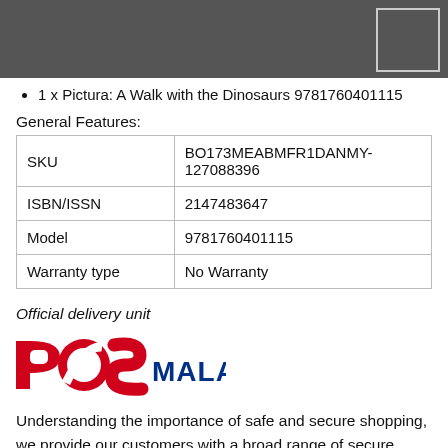1 x Pictura: A Walk with the Dinosaurs 9781760401115
General Features:
| SKU | BO173MEABMFR1DANMY-127088396 |
| --- | --- |
| ISBN/ISSN | 2147483647 |
| Model | 9781760401115 |
| Warranty type | No Warranty |
Official delivery unit
[Figure (logo): Pos Malaysia logo — red POS text with white swoosh and blue MALAYSIA text]
Understanding the importance of safe and secure shopping, we provide our customers with a broad range of secure payment options including cash-on-delivery, where you pay in cash only when you receive your package. Be assured of product quality and authenticity: All purchases